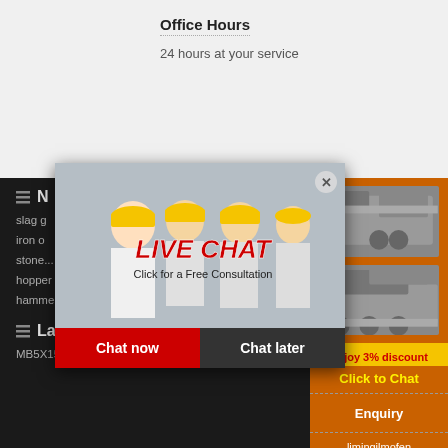Office Hours
24 hours at your service
N...
slag g...
iron o...
stone...
hopper for limestone and clay crusher
hammer crusher standards pdfiron ore mine equipment
Latest Product
MB5X158 Pendulous Suspension
[Figure (photo): Live Chat popup with workers in hard hats, LIVE CHAT heading, Chat now and Chat later buttons]
[Figure (photo): Sidebar with orange background showing mining/crushing machines, Enjoy 3% discount, Click to Chat, Enquiry, limingjlmofen@sina.com]